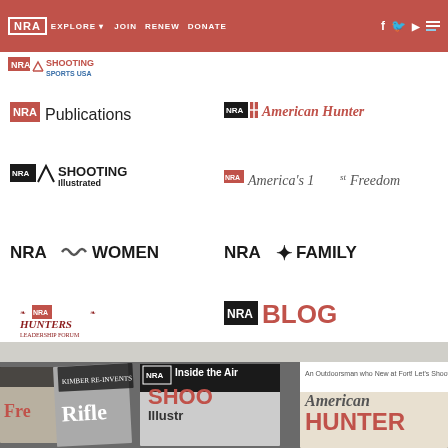NRA EXPLORE | JOIN | RENEW | DONATE
[Figure (logo): NRA Shooting Sports USA logo in navigation bar]
[Figure (logo): NRA Publications logo]
[Figure (logo): NRA American Hunter logo]
[Figure (logo): NRA Shooting Illustrated logo]
[Figure (logo): America's 1st Freedom logo]
[Figure (logo): NRA Women logo]
[Figure (logo): NRA Family logo]
[Figure (logo): Hunters Leadership Forum logo]
[Figure (logo): NRA Blog logo]
[Figure (photo): Photo of multiple NRA magazine covers including Rifle, Shooting Illustrated, and American Hunter]